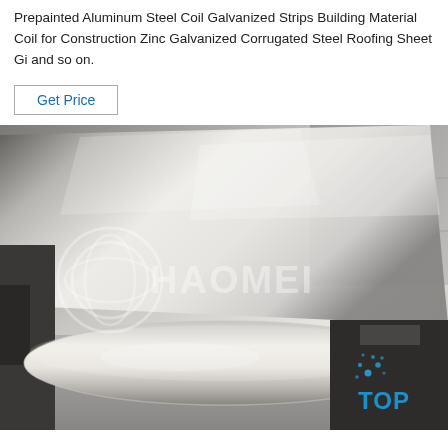Prepainted Aluminum Steel Coil Galvanized Strips Building Material Coil for Construction Zinc Galvanized Corrugated Steel Roofing Sheet Gi and so on.
Get Price
[Figure (photo): Photo of shiny aluminum/galvanized steel coil sheet being processed on industrial machinery. The image has a watermark showing a circle logo and the text 'HAOMEI' across the center, with a blue 'TOP' badge with water droplet dots in the bottom-right corner.]